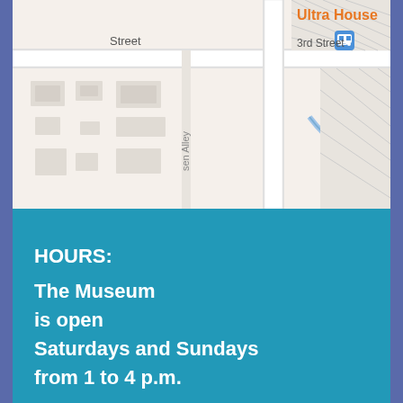[Figure (map): Street map snippet showing 'Street', '3rd Street', 'sen Alley' labels, building footprints, a bus stop icon, blue road line, and 'Ultra House' label in orange. Partial view of a city map.]
HOURS:
The Museum
is open
Saturdays and Sundays
from 1 to 4 p.m.